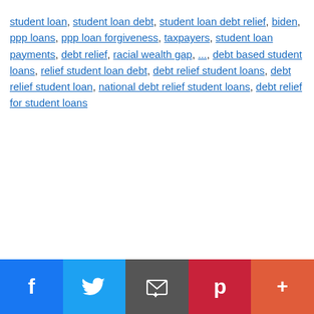student loan, student loan debt, student loan debt relief, biden, ppp loans, ppp loan forgiveness, taxpayers, student loan payments, debt relief, racial wealth gap, ..., debt based student loans, relief student loan debt, debt relief student loans, debt relief student loan, national debt relief student loans, debt relief for student loans
Facebook | Twitter | Email | Pinterest | More